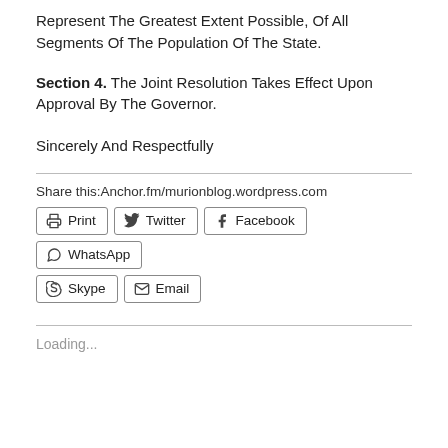Represent The Greatest Extent Possible, Of All Segments Of The Population Of The State.
Section 4. The Joint Resolution Takes Effect Upon Approval By The Governor.
Sincerely And Respectfully
Share this:Anchor.fm/murionblog.wordpress.com
Print  Twitter  Facebook  WhatsApp  Skype  Email
Loading...